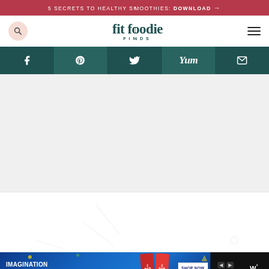5 SECRETS TO HEALTHY SMOOTHIES: DOWNLOAD →
[Figure (logo): Fit Foodie Finds logo with search icon and hamburger menu]
[Figure (infographic): Social sharing bar with Facebook, Pinterest, Twitter, Yummly, and Email icons]
[Figure (photo): Main content image area (light gray/white placeholder)]
[Figure (infographic): Advertisement banner: Clif Kid ZBar - Imagination Needs Fuel - Shop Now]
[Figure (logo): Side logo with stylized W and degree symbol]